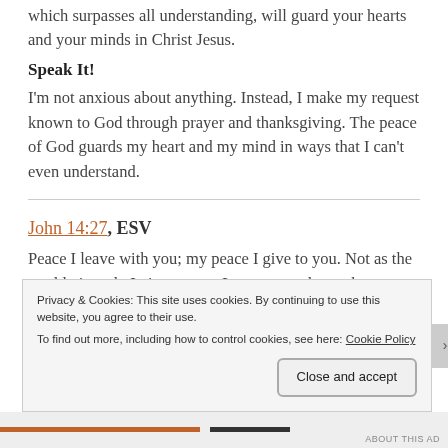which surpasses all understanding, will guard your hearts and your minds in Christ Jesus.
Speak It!
I'm not anxious about anything. Instead, I make my request known to God through prayer and thanksgiving. The peace of God guards my heart and my mind in ways that I can't even understand.
John 14:27, ESV
Peace I leave with you; my peace I give to you. Not as the world gives do I give to you. Let not your hearts be troubled, neither let them be afraid.
Privacy & Cookies: This site uses cookies. By continuing to use this website, you agree to their use. To find out more, including how to control cookies, see here: Cookie Policy
Close and accept